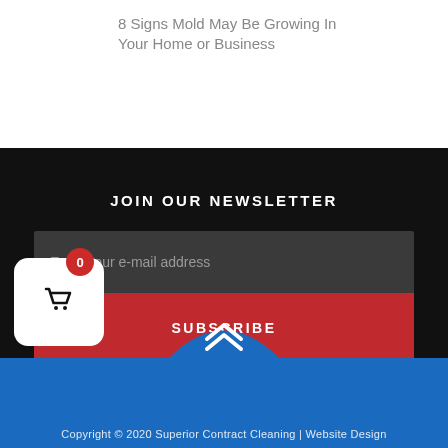8 Signs Mold May Be Growing In Your Home or Business
JOIN OUR NEWSLETTER
Enter your e-mail address
SUBSCRIBE
Copyright © 2020 Superior Contract Cleaning | Website Design